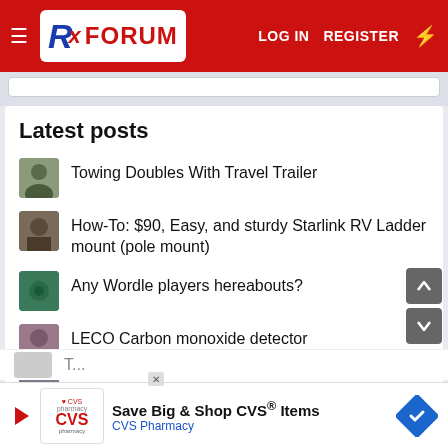RX FORUM — LOG IN  REGISTER
Latest posts
Towing Doubles With Travel Trailer
How-To: $90, Easy, and sturdy Starlink RV Ladder mount (pole mount)
Any Wordle players hereabouts?
LECO Carbon monoxide detector
Strange problem
PEX Connector to faucet
Save Big & Shop CVS® Items — CVS Pharmacy